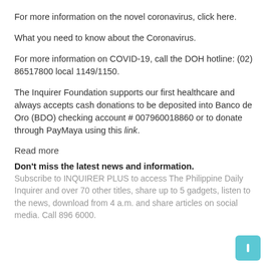For more information on the novel coronavirus, click here.
What you need to know about the Coronavirus.
For more information on COVID-19, call the DOH hotline: (02) 86517800 local 1149/1150.
The Inquirer Foundation supports our first healthcare and always accepts cash donations to be deposited into Banco de Oro (BDO) checking account # 007960018860 or to donate through PayMaya using this link.
Read more
Don't miss the latest news and information.
Subscribe to INQUIRER PLUS to access The Philippine Daily Inquirer and over 70 other titles, share up to 5 gadgets, listen to the news, download from 4 a.m. and share articles on social media. Call 896 6000.